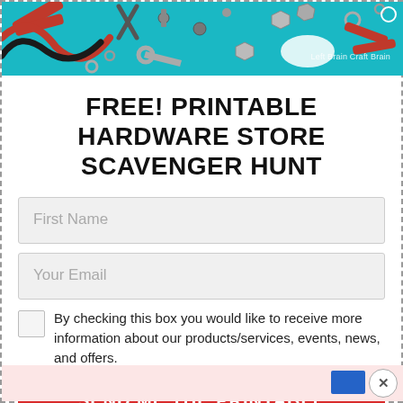[Figure (photo): Header image showing hardware tools (pliers, screws, bolts, wire, nuts) scattered on a turquoise/teal background. Brand text 'Left Brain Craft Brain' in bottom right corner.]
FREE! PRINTABLE HARDWARE STORE SCAVENGER HUNT
First Name
Your Email
By checking this box you would like to receive more information about our products/services, events, news, and offers.
SEND ME THE PRINTABLE